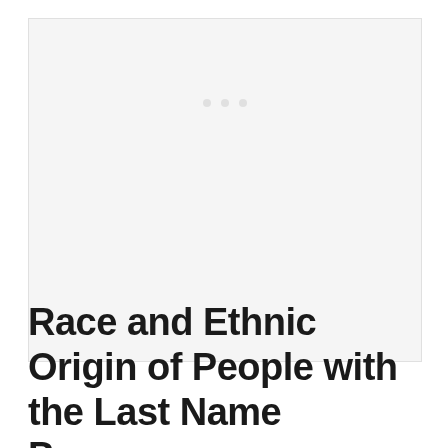[Figure (other): Light gray placeholder image area with three faint dots near the top center, likely a loading or blank image region.]
Race and Ethnic Origin of People with the Last Name Pappas